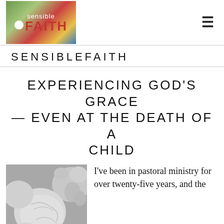SENSIBLEFAITH
EXPERIENCING GOD'S GRACE — EVEN AT THE DEATH OF A CHILD
[Figure (photo): Black and white photo of a sleeping infant in a onesie, curled up next to a stuffed animal]
I've been in pastoral ministry for over twenty-five years, and the